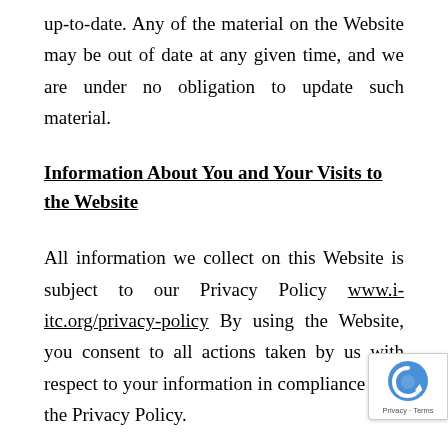up-to-date. Any of the material on the Website may be out of date at any given time, and we are under no obligation to update such material.
Information About You and Your Visits to the Website
All information we collect on this Website is subject to our Privacy Policy www.i-itc.org/privacy-policy By using the Website, you consent to all actions taken by us with respect to your information in compliance with the Privacy Policy.
Linking to the Website and Social Media Fea...
You may link to our homepage, provided you do so in